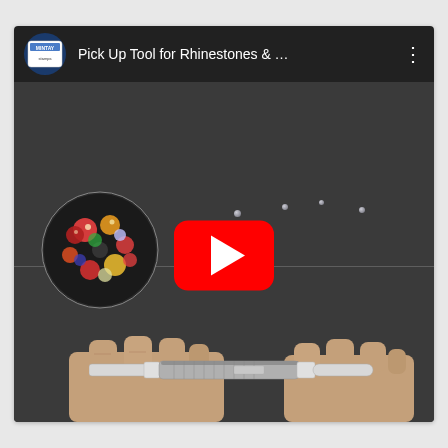[Figure (screenshot): YouTube video thumbnail showing 'Pick Up Tool for Rhinestones & ...' with a channel icon on the left, the video title and a three-dot menu in the header bar, and a paused video frame showing a dark background surface with a colorful dish of rhinestones on the left, small scattered rhinestones in the upper area, a pick-up pen tool held in two hands at the bottom, and a red YouTube play button in the center.]